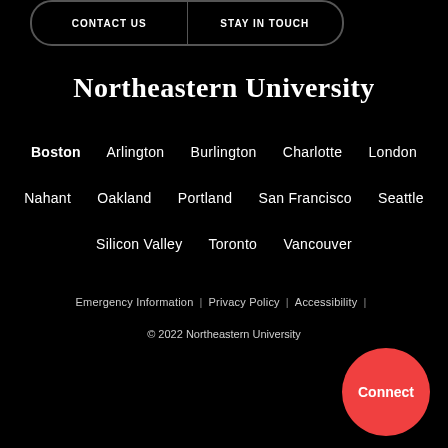CONTACT US | STAY IN TOUCH
Northeastern University
Boston   Arlington   Burlington   Charlotte   London
Nahant   Oakland   Portland   San Francisco   Seattle
Silicon Valley   Toronto   Vancouver
Emergency Information | Privacy Policy | Accessibility |
© 2022 Northeastern University
[Figure (infographic): Row of six social media icons (Facebook, Twitter, YouTube, LinkedIn, Instagram, Snapchat) in dark grey circles, plus a red Connect button circle at the right.]